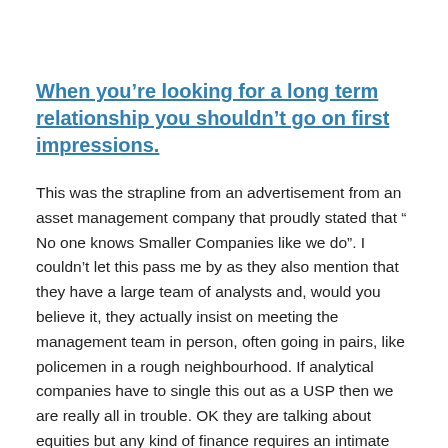When you're looking for a long term relationship you shouldn't go on first impressions.
This was the strapline from an advertisement from an asset management company that proudly stated that " No one knows Smaller Companies like we do". I couldn't let this pass me by as they also mention that they have a large team of analysts and, would you believe it, they actually insist on meeting the management team in person, often going in pairs, like policemen in a rough neighbourhood. If analytical companies have to single this out as a USP then we are really all in trouble. OK they are talking about equities but any kind of finance requires an intimate knowledge of the people running the business. How are